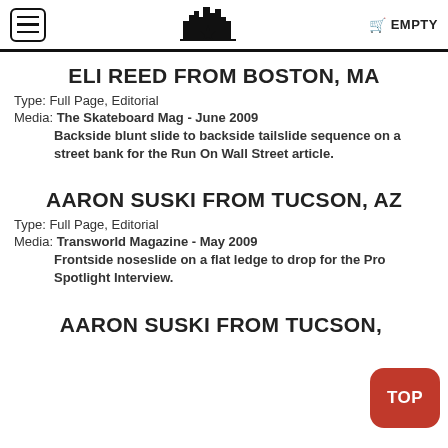ELI REED FROM BOSTON, MA
Type: Full Page, Editorial
Media: The Skateboard Mag - June 2009
Backside blunt slide to backside tailslide sequence on a street bank for the Run On Wall Street article.
AARON SUSKI FROM TUCSON, AZ
Type: Full Page, Editorial
Media: Transworld Magazine - May 2009
Frontside noseslide on a flat ledge to drop for the Pro Spotlight Interview.
AARON SUSKI FROM TUCSON, AZ